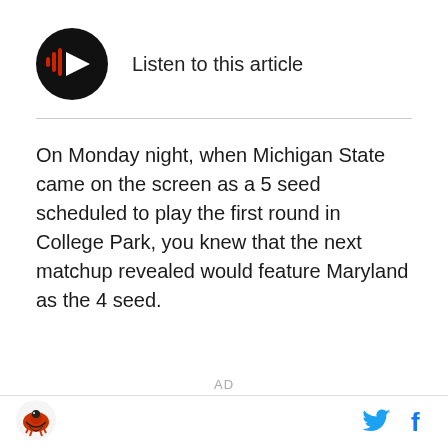[Figure (other): Audio player button: black circle with red play icon and sound wave bars, labeled 'Listen to this article']
On Monday night, when Michigan State came on the screen as a 5 seed scheduled to play the first round in College Park, you knew that the next matchup revealed would feature Maryland as the 4 seed.
AD
Footer with site logo on the left and Twitter and Facebook social icons on the right